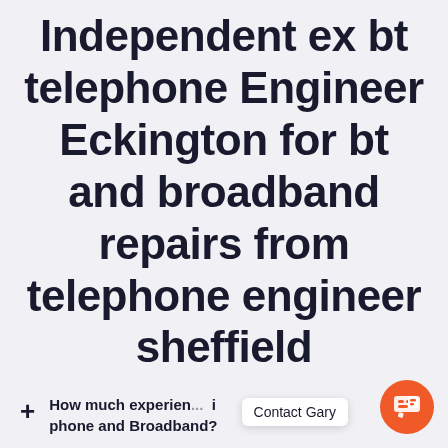Independent ex bt telephone Engineer Eckington for bt and broadband repairs from telephone engineer sheffield
+ How much experien... phone and Broadband?